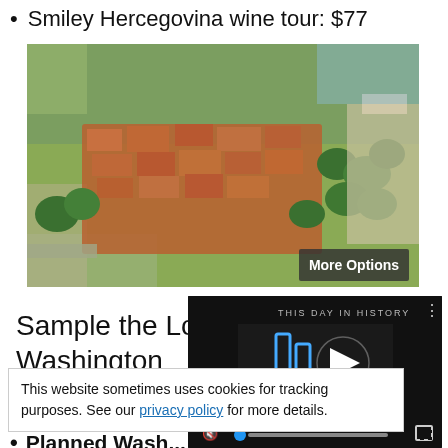Smiley Hercegovina wine tour: $77
[Figure (photo): Aerial view of a historic town with red-tiled rooftops surrounded by green trees and stone walls, with a 'More Options' overlay button in the bottom-right corner]
Sample the Local Flavors in Washington
Some specific cos activities in Wash
This website sometimes uses cookies for tracking purposes. See our privacy policy for more details.
[Figure (screenshot): Video player overlay showing 'THIS DAY IN HISTORY' with a play button, mute icon, progress bar, and fullscreen button. Bottom label reads 'SEPTEMBER'.]
Planned Washingt...